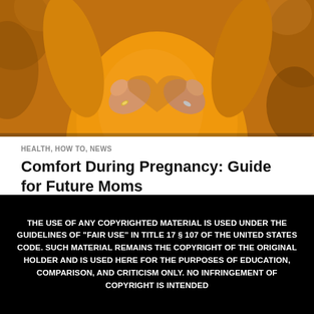[Figure (photo): Pregnant woman in orange top forming a heart shape with her hands over her belly, autumn leaves in background]
HEALTH, HOW TO, NEWS
Comfort During Pregnancy: Guide for Future Moms
While you're anxiously counting the days until you meet your precious baby, this blessed period can be uncomfortable. A woman's ...
THE USE OF ANY COPYRIGHTED MATERIAL IS USED UNDER THE GUIDELINES OF "FAIR USE" IN TITLE 17 § 107 OF THE UNITED STATES CODE. SUCH MATERIAL REMAINS THE COPYRIGHT OF THE ORIGINAL HOLDER AND IS USED HERE FOR THE PURPOSES OF EDUCATION, COMPARISON, AND CRITICISM ONLY. NO INFRINGEMENT OF COPYRIGHT IS INTENDED